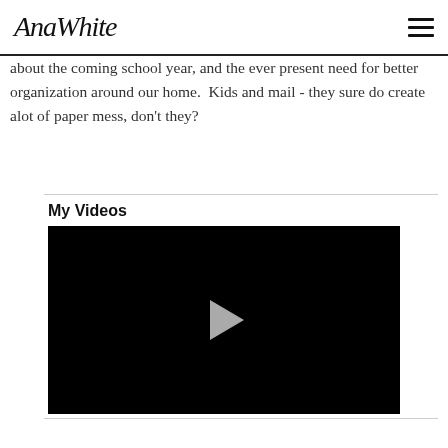AnaWhite
about the coming school year, and the ever present need for better organization around our home.  Kids and mail - they sure do create alot of paper mess, don't they?
My Videos
[Figure (screenshot): Black video player with a play button (triangle) in the center]